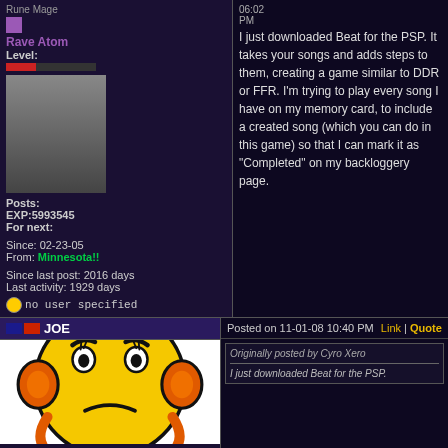Rune Mage
Rave Atom
Level:
Posts:
EXP:5993545
For next:
Since: 02-23-05
From: Minnesota!!
Since last post: 2016 days
Last activity: 1929 days
no user specified
I just downloaded Beat for the PSP. It takes your songs and adds steps to them, creating a game similar to DDR or FFR. I'm trying to play every song I have on my memory card, to include a created song (which you can do in this game) so that I can mark it as "Completed" on my backloggery page.
JOE
Posted on 11-01-08 10:40 PM
Link | Quote
[Figure (illustration): Sad/worried yellow smiley face character with orange ear-muffs/headphones, blue shoes, and worried expression with hands on hips]
Originally posted by Cyro Xero
I just downloaded Beat for the PSP.